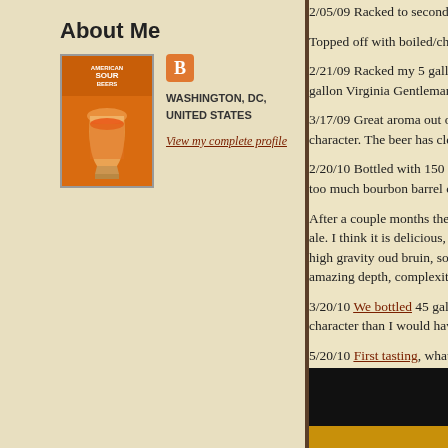About Me
[Figure (photo): Book cover for a sour beer book, orange background with a beer glass]
WASHINGTON, DC, UNITED STATES
View my complete profile
2/05/09 Racked to seconda...
Topped off with boiled/chi...
2/21/09 Racked my 5 gallo... gallon Virginia Gentleman...
3/17/09 Great aroma out of... character. The beer has cle...
2/20/10 Bottled with 150 g... too much bourbon barrel c...
After a couple months the ... ale. I think it is delicious, b... high gravity oud bruin, so t... amazing depth, complexity...
3/20/10 We bottled 45 gall... character than I would hav...
5/20/10 First tasting, what ...
That is so pretty though, hu...
[Figure (photo): Photo strip at bottom, dark image with yellow/gold band at bottom]